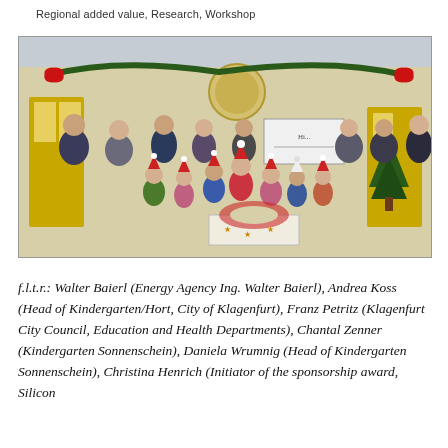Regional added value, Research, Workshop
[Figure (photo): Group photo of adults and children wearing Santa hats standing outside a building decorated with Christmas garlands. Children are gathered around a table with a wreath. Several adults in the back hold a large check/sign. People are wearing face masks.]
f.l.t.r.: Walter Baierl (Energy Agency Ing. Walter Baierl), Andrea Koss (Head of Kindergarten/Hort, City of Klagenfurt), Franz Petritz (Klagenfurt City Council, Education and Health Departments), Chantal Zenner (Kindergarten Sonnenschein), Daniela Wrumnig (Head of Kindergarten Sonnenschein), Christina Henrich (Initiator of the sponsorship award, Silicon